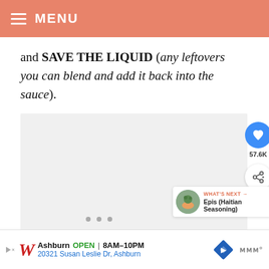MENU
and SAVE THE LIQUID (any leftovers you can blend and add it back into the sauce).
[Figure (photo): Image placeholder (light gray box) with three dots navigation indicator at bottom center, heart/like button (57.6K), share button, and 'What's Next: Epis (Haitian Seasoning)' card on the right side.]
Ashburn OPEN 8AM–10PM 20321 Susan Leslie Dr, Ashburn